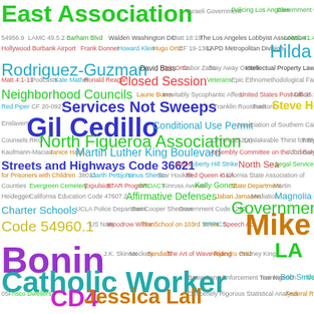[Figure (infographic): Word cloud featuring government, legal, and civic terms related to Los Angeles city politics, council members, codes, and organizations. Prominent terms include East Association, Gil Cedillo, Mike Bonin, LA Catholic Worker, CD4, Jessica Lall, North Figueroa Association, Services Not Sweeps, Streets and Highways Code 36621, Neighborhood Councils, Closed Session, Steve Houchin, and many others in varying sizes and colors.]